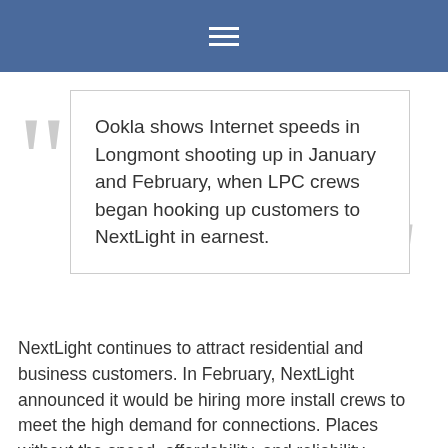≡
Ookla shows Internet speeds in Longmont shooting up in January and February, when LPC crews began hooking up customers to NextLight in earnest.
NextLight continues to attract residential and business customers. In February, NextLight announced it would be hiring more install crews to meet the high demand for connections. Places without the speed, affordability, and reliability NextLight can offer will find themselves at a disadvantage as economic development